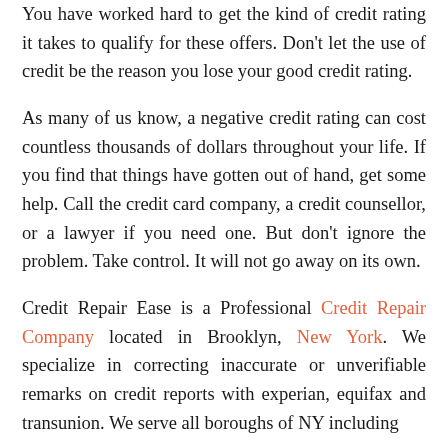You have worked hard to get the kind of credit rating it takes to qualify for these offers. Don't let the use of credit be the reason you lose your good credit rating.
As many of us know, a negative credit rating can cost countless thousands of dollars throughout your life. If you find that things have gotten out of hand, get some help. Call the credit card company, a credit counsellor, or a lawyer if you need one. But don't ignore the problem. Take control. It will not go away on its own.
Credit Repair Ease is a Professional Credit Repair Company located in Brooklyn, New York. We specialize in correcting inaccurate or unverifiable remarks on credit reports with experian, equifax and transunion. We serve all boroughs of NY including